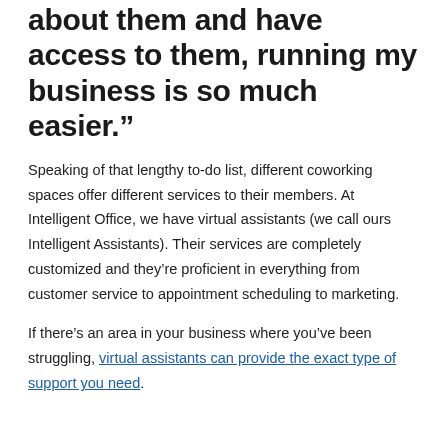about them and have access to them, running my business is so much easier."
Speaking of that lengthy to-do list, different coworking spaces offer different services to their members. At Intelligent Office, we have virtual assistants (we call ours Intelligent Assistants). Their services are completely customized and they’re proficient in everything from customer service to appointment scheduling to marketing.
If there’s an area in your business where you’ve been struggling, virtual assistants can provide the exact type of support you need.